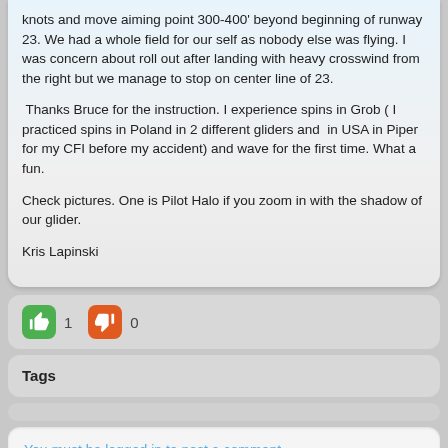knots and move aiming point 300-400' beyond beginning of runway 23. We had a whole field for our self as nobody else was flying. I was concern about roll out after landing with heavy crosswind from the right but we manage to stop on center line of 23.

Thanks Bruce for the instruction. I experience spins in Grob ( I practiced spins in Poland in 2 different gliders and in USA in Piper for my CFI before my accident) and wave for the first time. What a fun.

Check pictures. One is Pilot Halo if you zoom in with the shadow of our glider.

Kris Lapinski
[Figure (other): Vote buttons: green thumbs-up with count 1, orange thumbs-down with count 0]
Tags
You must be logged in to post a comment